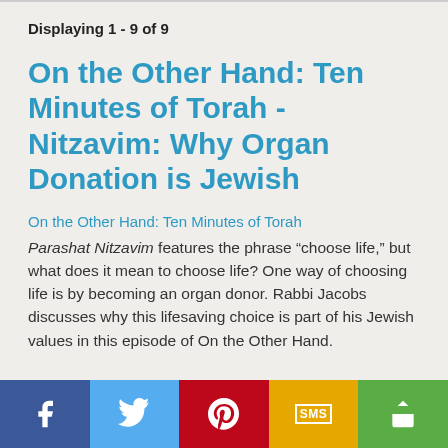Displaying 1 - 9 of 9
On the Other Hand: Ten Minutes of Torah - Nitzavim: Why Organ Donation is Jewish
On the Other Hand: Ten Minutes of Torah
Parashat Nitzavim features the phrase “choose life,” but what does it mean to choose life? One way of choosing life is by becoming an organ donor. Rabbi Jacobs discusses why this lifesaving choice is part of his Jewish values in this episode of On the Other Hand.
[Figure (infographic): Social sharing bar with five buttons: Facebook (dark blue), Twitter (light blue), Pinterest (red), SMS (yellow/gold), Share (green)]